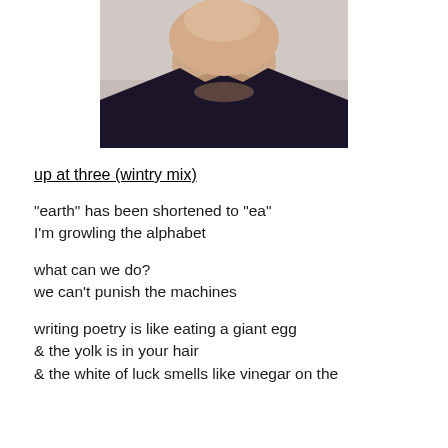[Figure (photo): Cropped photo of a person's lower face and neck wearing a dark navy/black collared shirt, light background.]
up at three (wintry mix)
“earth” has been shortened to “ea”
I’m growling the alphabet
what can we do?
we can’t punish the machines
writing poetry is like eating a giant egg
& the yolk is in your hair
& the white of luck smells like vinegar on the